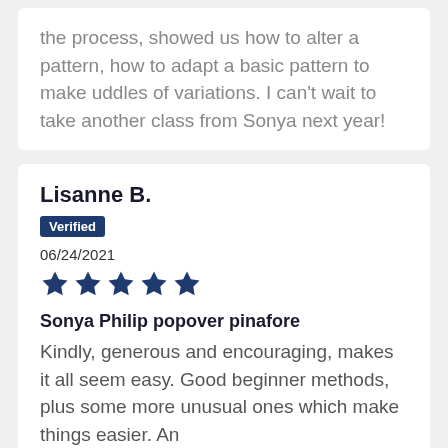the process, showed us how to alter a pattern, how to adapt a basic pattern to make uddles of variations. I can't wait to take another class from Sonya next year!
Lisanne B.
Verified
06/24/2021
Sonya Philip popover pinafore
Kindly, generous and encouraging, makes it all seem easy. Good beginner methods, plus some more unusual ones which make things easier. An